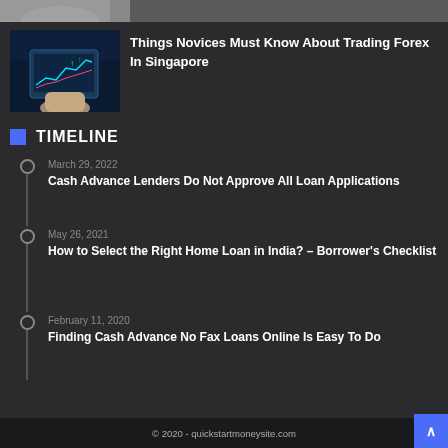[Figure (photo): Cropped top portion of an article thumbnail image showing hands]
[Figure (photo): Dark blue background image of a hand holding a tablet displaying financial trading charts with upward trend arrows]
Things Novices Must Know About Trading Forex In Singapore
TIMELINE
March 29, 2022
Cash Advance Lenders Do Not Approve All Loan Applications
May 26, 2021
How to Select the Right Home Loan in India? – Borrower's Checklist
February 11, 2020
Finding Cash Advance No Fax Loans Online Is Easy To Do
© 2020 - quickstartmoneysite.com